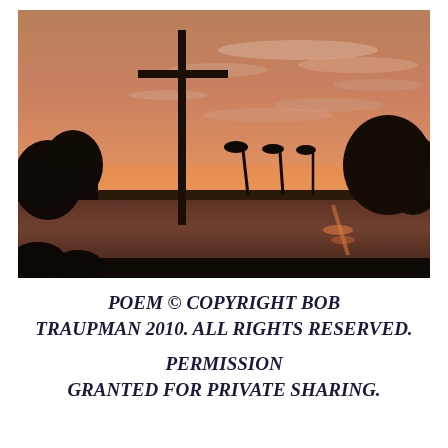[Figure (photo): Photograph of a sunset scene with a large wooden cross silhouette on the left, trees silhouetted against an orange and pink sky, a reflective body of water in the foreground, and palm trees visible in the middle distance.]
POEM © COPYRIGHT BOB TRAUPMAN 2010. ALL RIGHTS RESERVED. PERMISSION GRANTED FOR PRIVATE SHARING.